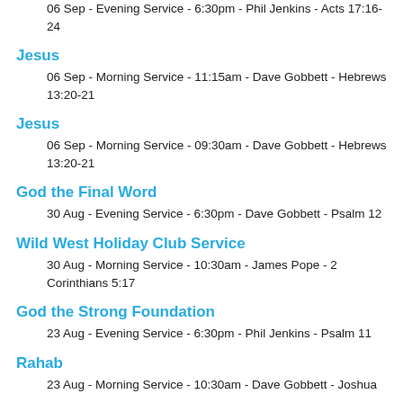06 Sep - Evening Service - 6:30pm - Phil Jenkins - Acts 17:16-24
Jesus
06 Sep - Morning Service - 11:15am - Dave Gobbett - Hebrews 13:20-21
Jesus
06 Sep - Morning Service - 09:30am - Dave Gobbett - Hebrews 13:20-21
God the Final Word
30 Aug - Evening Service - 6:30pm - Dave Gobbett - Psalm 12
Wild West Holiday Club Service
30 Aug - Morning Service - 10:30am - James Pope - 2 Corinthians 5:17
God the Strong Foundation
23 Aug - Evening Service - 6:30pm - Phil Jenkins - Psalm 11
Rahab
23 Aug - Morning Service - 10:30am - Dave Gobbett - Joshua